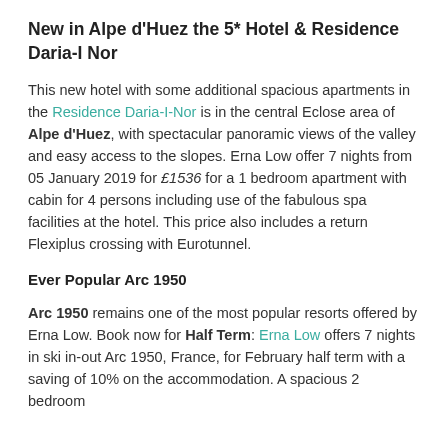New in Alpe d'Huez the 5* Hotel & Residence Daria-I Nor
This new hotel with some additional spacious apartments in the Residence Daria-I-Nor is in the central Eclose area of Alpe d'Huez, with spectacular panoramic views of the valley and easy access to the slopes. Erna Low offer 7 nights from 05 January 2019 for £1536 for a 1 bedroom apartment with cabin for 4 persons including use of the fabulous spa facilities at the hotel. This price also includes a return Flexiplus crossing with Eurotunnel.
Ever Popular Arc 1950
Arc 1950 remains one of the most popular resorts offered by Erna Low. Book now for Half Term: Erna Low offers 7 nights in ski in-out Arc 1950, France, for February half term with a saving of 10% on the accommodation. A spacious 2 bedroom